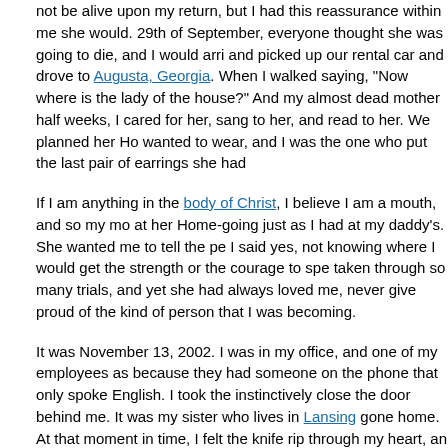not be alive upon my return, but I had this reassurance within me she would. 29th of September, everyone thought she was going to die, and I would arrive and picked up our rental car and drove to Augusta, Georgia. When I walked in saying, "Now where is the lady of the house?" And my almost dead mother... half weeks, I cared for her, sang to her, and read to her. We planned her Home-going, wanted to wear, and I was the one who put the last pair of earrings she had...
If I am anything in the body of Christ, I believe I am a mouth, and so my mother... at her Home-going just as I had at my daddy's. She wanted me to tell the people... I said yes, not knowing where I would get the strength or the courage to speak... taken through so many trials, and yet she had always loved me, never given up... proud of the kind of person that I was becoming.
It was November 13, 2002. I was in my office, and one of my employees asked... because they had someone on the phone that only spoke English. I took the call... instinctively close the door behind me. It was my sister who lives in Lansing... gone home. At that moment in time, I felt the knife rip through my heart, and... left in its aftermath.
It was November 18, 2002. The church was overcrowded. There were so many... mother and had adopted her as their mother too. She had influenced the lives of... the crowd, I talked about the woman who I had come to love deeply. They laughed... said. It was a joyous time. It was the kind of speech my mother had wanted...
At the end of my small talk I reflected back on the immense richness of our...